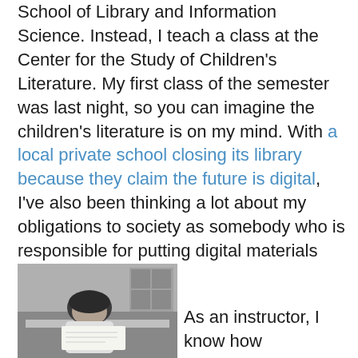School of Library and Information Science. Instead, I teach a class at the Center for the Study of Children's Literature. My first class of the semester was last night, so you can imagine the children's literature is on my mind. With a local private school closing its library because they claim the future is digital, I've also been thinking a lot about my obligations to society as somebody who is responsible for putting digital materials online.
[Figure (photo): Black and white photograph of a child reading or writing at a desk, viewed from above at an angle.]
As an instructor, I know how